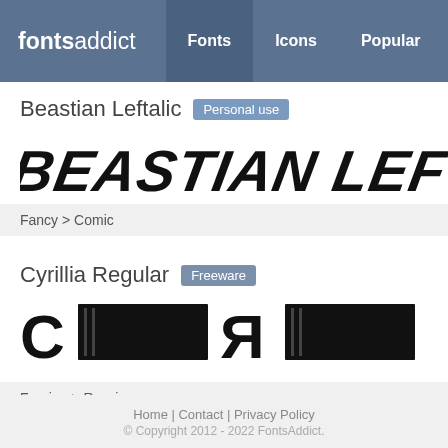fontsaddict — Fonts | Icons | Popular
Beastian Leftalic — Personal use
[Figure (illustration): Preview of Beastian Leftalic font showing stylized bold comic text 'BEASTIAN LEFTALIC']
Fancy > Comic
Cyrillia Regular — Freeware
[Figure (illustration): Preview of Cyrillia Regular font showing Cyrillic-style characters C and Я with bold blocky display]
Foreign > Russian
Home | Contact | Privacy Policy
© Copyright 2012 - 2022 FontsAddict.